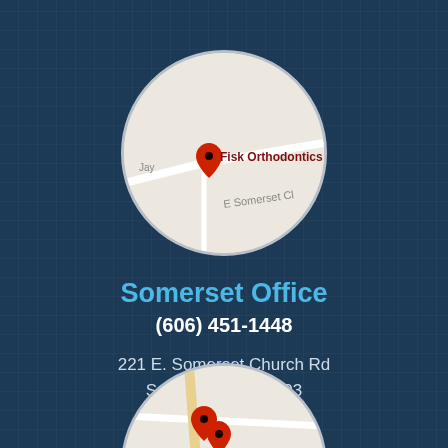[Figure (map): Circular map showing location of Fisk Orthodontics on E Somerset Church Rd with a red map pin marker]
Somerset Office
(606) 451-1448
221 E. Somerset Church Rd
Somerset, KY 42503
[Figure (map): Circular map showing another location with a red map pin marker, partially visible at the bottom of the page]